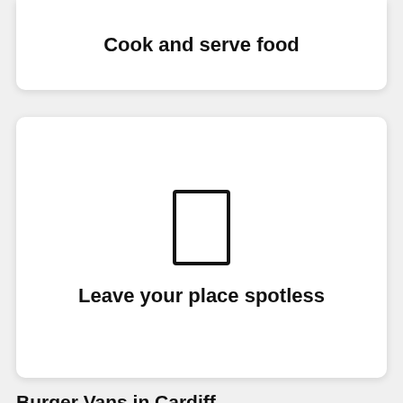Cook and serve food
[Figure (illustration): A simple outlined rectangle icon representing a door or window, centered in a white card]
Leave your place spotless
Burger Vans in Cardiff
Take your party to the next level with one of our Burger